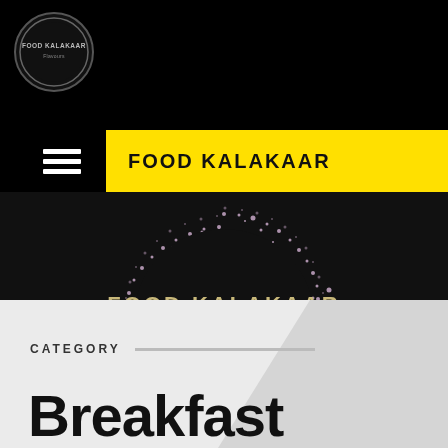[Figure (logo): Food Kalakaar circular logo with text on black background]
FOOD KALAKAAR
[Figure (logo): Food Kalakaar hero banner with circular glitter ring, text FOOD KALAKAAR and IT'S ALL ABOUT FOOD on dark background]
CATEGORY
Breakfast